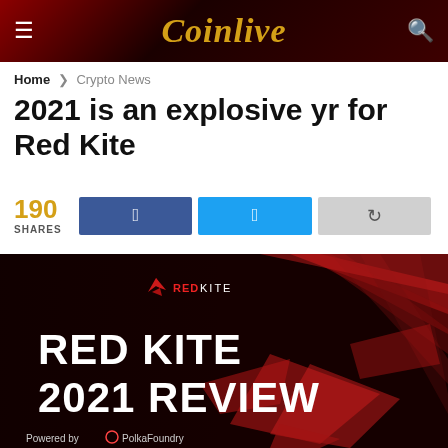Coinlive
Home > Crypto News
2021 is an explosive yr for Red Kite
190 SHARES
[Figure (photo): Red Kite 2021 Review promotional banner with dark red background, kite bird graphic, Red Kite logo, and 'Powered by PolkaFoundry' text]